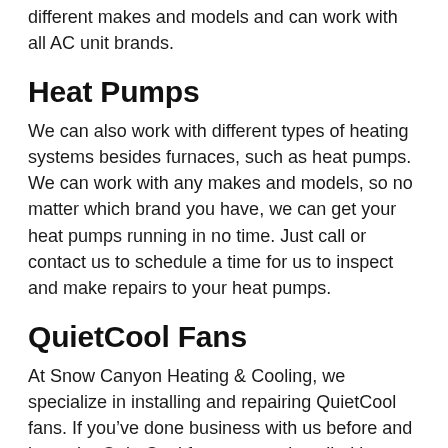different makes and models and can work with all AC unit brands.
Heat Pumps
We can also work with different types of heating systems besides furnaces, such as heat pumps. We can work with any makes and models, so no matter which brand you have, we can get your heat pumps running in no time. Just call or contact us to schedule a time for us to inspect and make repairs to your heat pumps.
QuietCool Fans
At Snow Canyon Heating & Cooling, we specialize in installing and repairing QuietCool fans. If you’ve done business with us before and have the QuietCool fans system installed in your home, then you know you can trust us and our excellent customer service. No matter